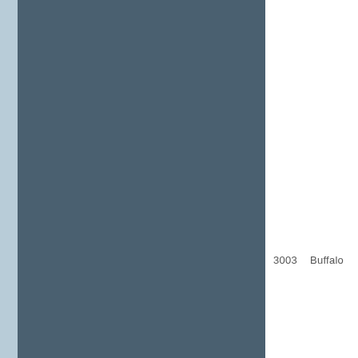[Figure (other): Two color swatches side by side: a large dark blue-gray rectangular panel on the left with a narrow light blue strip at its left edge, and a lighter gray rectangular swatch on the right with white background below it.]
3003    Buffalo